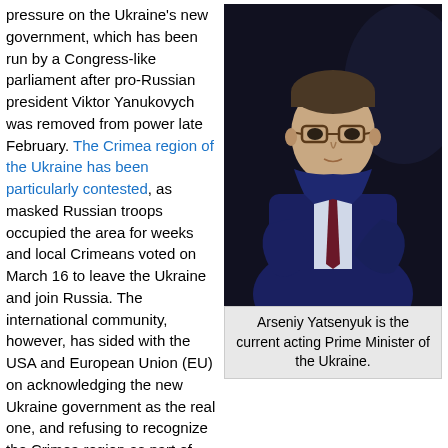pressure on the Ukraine's new government, which has been run by a Congress-like parliament after pro-Russian president Viktor Yanukovych was removed from power late February. The Crimea region of the Ukraine has been particularly contested, as masked Russian troops occupied the area for weeks and local Crimeans voted on March 16 to leave the Ukraine and join Russia. The international community, however, has sided with the USA and European Union (EU) on acknowledging the new Ukraine government as the real one, and refusing to recognize the Crimea region as part of Russia.
[Figure (photo): Portrait photo of Arseniy Yatsenyuk in a dark blue suit with arms crossed, against a dark background]
Arseniy Yatsenyuk is the current acting Prime Minister of the Ukraine.
The whole conflict began in November when pro-Russian president